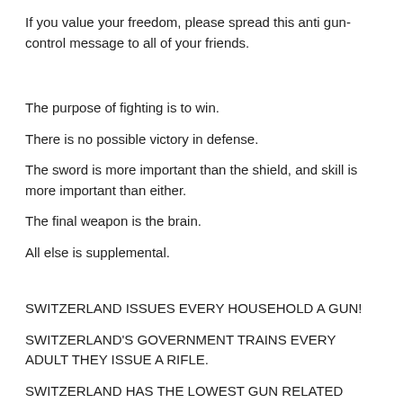If you value your freedom, please spread this anti gun-control message to all of your friends.
The purpose of fighting is to win.
There is no possible victory in defense.
The sword is more important than the shield, and skill is more important than either.
The final weapon is the brain.
All else is supplemental.
SWITZERLAND ISSUES EVERY HOUSEHOLD A GUN!
SWITZERLAND'S GOVERNMENT TRAINS EVERY ADULT THEY ISSUE A RIFLE.
SWITZERLAND HAS THE LOWEST GUN RELATED CRIME RATE OF